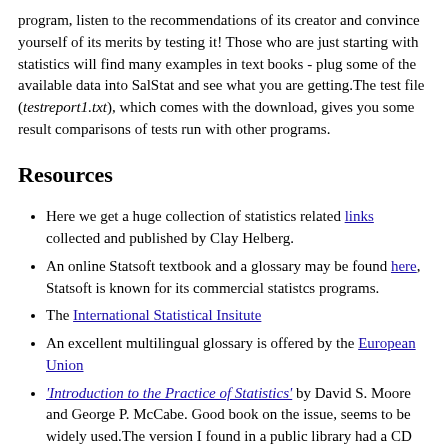program, listen to the recommendations of its creator and convince yourself of its merits by testing it! Those who are just starting with statistics will find many examples in text books - plug some of the available data into SalStat and see what you are getting.The test file (testreport1.txt), which comes with the download, gives you some result comparisons of tests run with other programs.
Resources
Here we get a huge collection of statistics related links collected and published by Clay Helberg.
An online Statsoft textbook and a glossary may be found here, Statsoft is known for its commercial statistcs programs.
The International Statistical Insitute
An excellent multilingual glossary is offered by the European Union
'Introduction to the Practice of Statistics' by David S. Moore and George P. McCabe. Good book on the issue, seems to be widely used.The version I found in a public library had a CD with all the data for a large number of training exercises